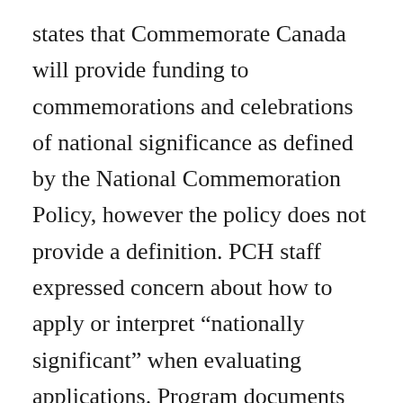states that Commemorate Canada will provide funding to commemorations and celebrations of national significance as defined by the National Commemoration Policy, however the policy does not provide a definition. PCH staff expressed concern about how to apply or interpret “nationally significant” when evaluating applications. Program documents were not clear on whether the expression referred to the importance of the historic event being commemorated, or the size of the event being planned. No program documents examined made reference to the mandated